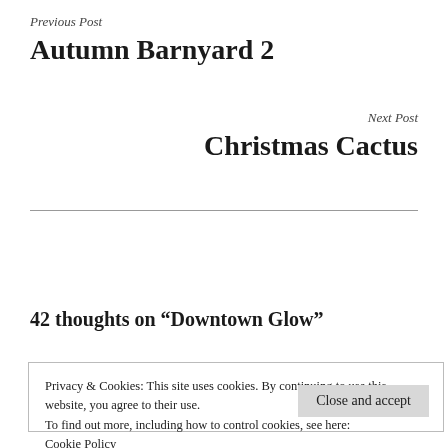Previous Post
Autumn Barnyard 2
Next Post
Christmas Cactus
42 thoughts on “Downtown Glow”
Privacy & Cookies: This site uses cookies. By continuing to use this website, you agree to their use.
To find out more, including how to control cookies, see here: Cookie Policy